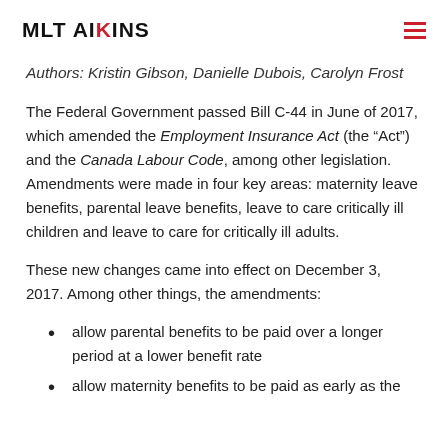MLT AIKINS
Authors: Kristin Gibson, Danielle Dubois, Carolyn Frost
The Federal Government passed Bill C-44 in June of 2017, which amended the Employment Insurance Act (the “Act”) and the Canada Labour Code, among other legislation. Amendments were made in four key areas: maternity leave benefits, parental leave benefits, leave to care critically ill children and leave to care for critically ill adults.
These new changes came into effect on December 3, 2017. Among other things, the amendments:
allow parental benefits to be paid over a longer period at a lower benefit rate
allow maternity benefits to be paid as early as the